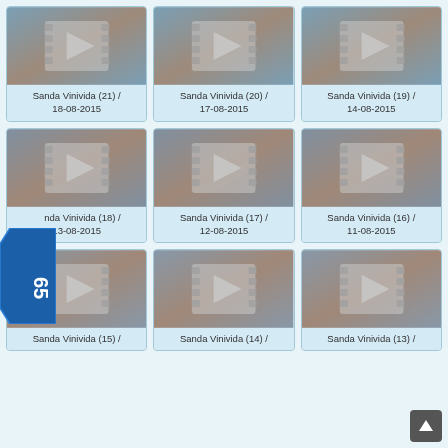[Figure (screenshot): Grid of 9 video thumbnail cards (3 columns x 3 rows), each showing a film/video play icon on a blurred background, with titles: Sanda Vinivida (21)/18-08-2015, Sanda Vinivida (20)/17-08-2015, Sanda Vinivida (19)/14-08-2015, Sanda Vinivida (18)/13-08-2015, Sanda Vinivida (17)/12-08-2015, Sanda Vinivida (16)/11-08-2015, Sanda Vinivida (15), Sanda Vinivida (14), Sanda Vinivida (13). A blue badge with 'online 65' is overlaid on the left side. A scroll-to-top button is at the bottom right.]